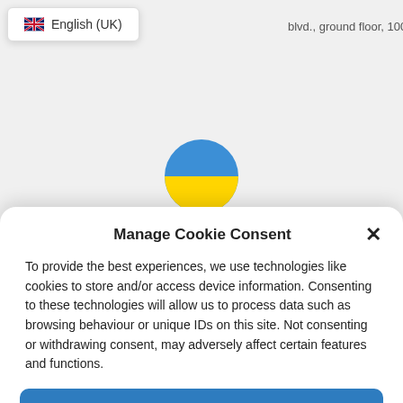[Figure (screenshot): Language selector dropdown showing UK flag and 'English (UK)' text]
blvd., ground floor, 1000, Sofia
[Figure (illustration): Ukraine circular flag with blue top half and yellow bottom half]
Ukraine
Manage Cookie Consent
To provide the best experiences, we use technologies like cookies to store and/or access device information. Consenting to these technologies will allow us to process data such as browsing behaviour or unique IDs on this site. Not consenting or withdrawing consent, may adversely affect certain features and functions.
Accept
Opt-out preferences   Privacy Statement